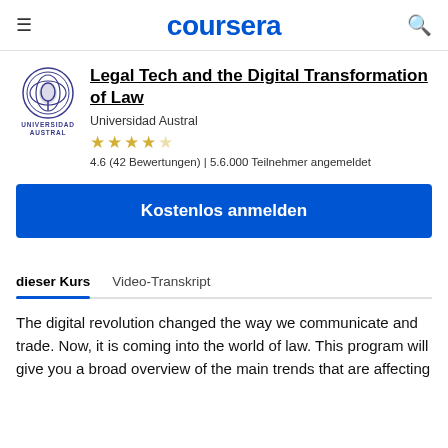coursera
Legal Tech and the Digital Transformation of Law
Universidad Austral
4.6 (42 Bewertungen) | 5.6.000 Teilnehmer angemeldet
Kostenlos anmelden
dieser Kurs	Video-Transkript
The digital revolution changed the way we communicate and trade. Now, it is coming into the world of law. This program will give you a broad overview of the main trends that are affecting